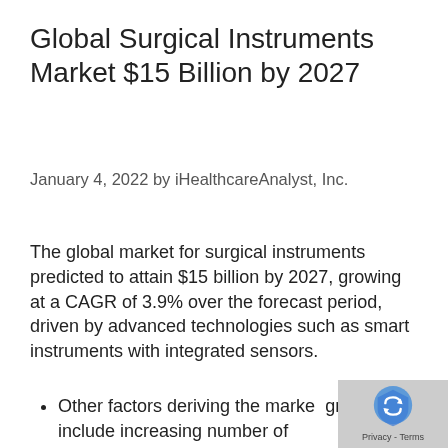Global Surgical Instruments Market $15 Billion by 2027
January 4, 2022 by iHealthcareAnalyst, Inc.
The global market for surgical instruments predicted to attain $15 billion by 2027, growing at a CAGR of 3.9% over the forecast period, driven by advanced technologies such as smart instruments with integrated sensors.
Other factors deriving the market growth include increasing number of